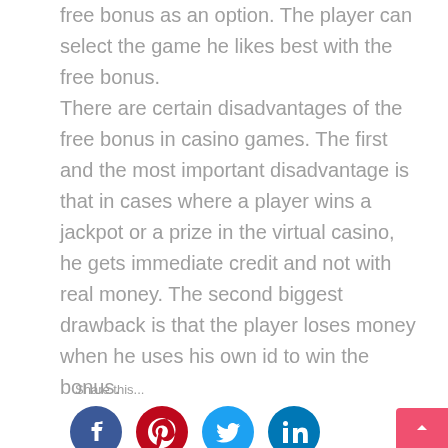free bonus as an option. The player can select the game he likes best with the free bonus. There are certain disadvantages of the free bonus in casino games. The first and the most important disadvantage is that in cases where a player wins a jackpot or a prize in the virtual casino, he gets immediate credit and not with real money. The second biggest drawback is that the player loses money when he uses his own id to win the bonus.
Share this...
[Figure (infographic): Four social media sharing icons: Facebook (dark blue circle with f), Pinterest (red circle with P), Twitter (light blue circle with bird), LinkedIn (blue circle with in)]
...
Read More